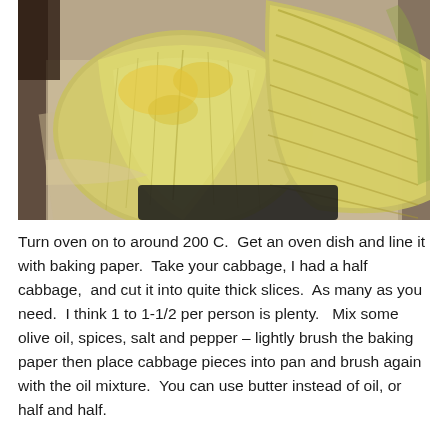[Figure (photo): Top-down photo of two roasted cabbage halves/wedges on baking paper in an oven dish. The cabbage is golden-brown and caramelized on the cut faces, showing the layered leaf structure. The background is parchment/baking paper on a dark baking tray.]
Turn oven on to around 200 C.  Get an oven dish and line it with baking paper.  Take your cabbage, I had a half cabbage,  and cut it into quite thick slices.  As many as you need.  I think 1 to 1-1/2 per person is plenty.   Mix some olive oil, spices, salt and pepper – lightly brush the baking paper then place cabbage pieces into pan and brush again with the oil mixture.  You can use butter instead of oil, or half and half.